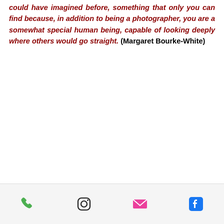could have imagined before, something that only you can find because, in addition to being a photographer, you are a somewhat special human being, capable of looking deeply where others would go straight. (Margaret Bourke-White)
[Figure (infographic): Footer bar with four social/contact icons: phone (green), Instagram (black outline), email (pink/red), Facebook (blue)]